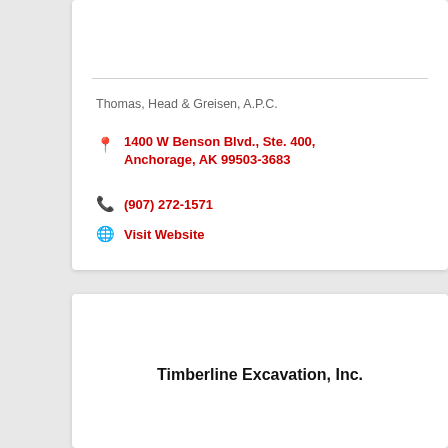Thomas, Head & Greisen, A.P.C.
1400 W Benson Blvd., Ste. 400, Anchorage, AK 99503-3683
(907) 272-1571
Visit Website
Timberline Excavation, Inc.